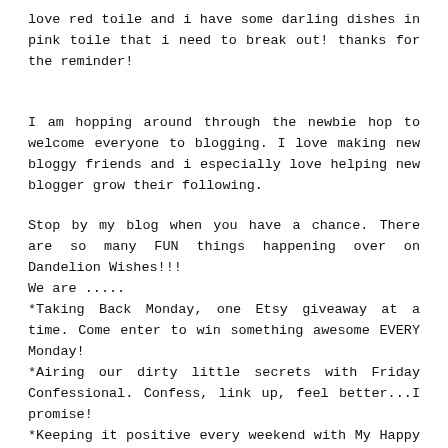love red toile and i have some darling dishes in pink toile that i need to break out! thanks for the reminder!
I am hopping around through the newbie hop to welcome everyone to blogging. I love making new bloggy friends and i especially love helping new blogger grow their following.
Stop by my blog when you have a chance. There are so many FUN things happening over on Dandelion Wishes!!!
We are .....
*Taking Back Monday, one Etsy giveaway at a time. Come enter to win something awesome EVERY Monday!
*Airing our dirty little secrets with Friday Confessional. Confess, link up, feel better...I promise!
*Keeping it positive every weekend with My Happy List. What's on YOUR Happy List this week? Post and link up...it's a party y'all!
*And there are crowning's happening for Queen for the Day...finally, the royal recognition you deserve.
reply